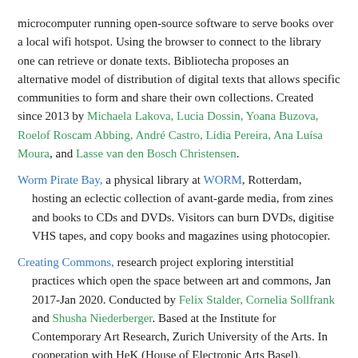microcomputer running open-source software to serve books over a local wifi hotspot. Using the browser to connect to the library one can retrieve or donate texts. Bibliotecha proposes an alternative model of distribution of digital texts that allows specific communities to form and share their own collections. Created since 2013 by Michaela Lakova, Lucia Dossin, Yoana Buzova, Roelof Roscam Abbing, André Castro, Lídia Pereira, Ana Luísa Moura, and Lasse van den Bosch Christensen.
Worm Pirate Bay, a physical library at WORM, Rotterdam, hosting an eclectic collection of avant-garde media, from zines and books to CDs and DVDs. Visitors can burn DVDs, digitise VHS tapes, and copy books and magazines using photocopier.
Creating Commons, research project exploring interstitial practices which open the space between art and commons, Jan 2017-Jan 2020. Conducted by Felix Stalder, Cornelia Sollfrank and Shusha Niederberger. Based at the Institute for Contemporary Art Research, Zurich University of the Arts. In cooperation with HeK (House of Electronic Arts Basel).
Pirate Care, a syllabus, a research process - primarily based in the transnational European space - that maps the increasingly...